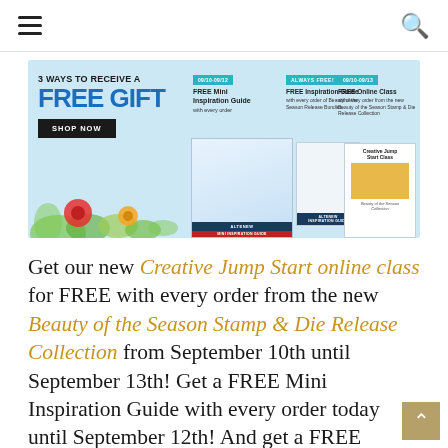☰  🔍
[Figure (infographic): Promotional banner: '3 WAYS TO RECEIVE A FREE GIFT' with SHOP NOW button. Lists free gifts: 09/10-09/12 FREE Mini Inspiration Guide with every order; ALWAYS FREE! FREE Inspiration Guide with every order of Beauty of the Season Release Bundles; 09/10-09/13 FREE Online Class with every order from the new Beauty of the Season Stamp & Die Release Collection. Shows product booklet images and Creative Jump Start Class image.]
Get our new Creative Jump Start online class for FREE with every order from the new Beauty of the Season Stamp & Die Release Collection from September 10th until September 13th! Get a FREE Mini Inspiration Guide with every order today until September 12th! And get a FREE